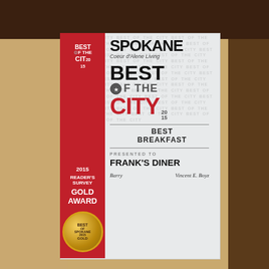[Figure (photo): A photograph of a 'Best of the City 2015' award certificate from Spokane Coeur d'Alene Living magazine, presented to Frank's Diner for Best Breakfast. The certificate features a red ribbon on the left side with '2015 Reader's Survey Gold Award' text and a gold medal medallion. The right side shows the Spokane logo, 'Best of the City 2015' in large text, 'Best Breakfast', 'Presented to Frank's Diner', and two signatures at the bottom. The certificate is photographed against a warm wood-toned background.]